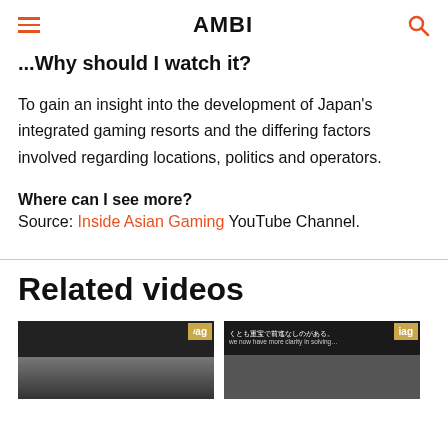AMBI
Why should I watch it?
To gain an insight into the development of Japan's integrated gaming resorts and the differing factors involved regarding locations, politics and operators.
Where can I see more?
Source: Inside Asian Gaming YouTube Channel.
Related videos
[Figure (screenshot): Two video thumbnails for related videos on Inside Asian Gaming YouTube channel]